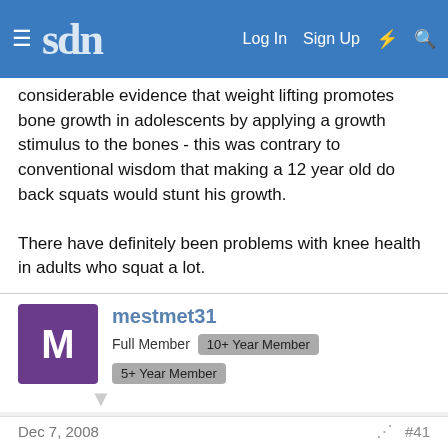sdn | Log In | Sign Up
considerable evidence that weight lifting promotes bone growth in adolescents by applying a growth stimulus to the bones - this was contrary to conventional wisdom that making a 12 year old do back squats would stunt his growth.

There have definitely been problems with knee health in adults who squat a lot.
mestmet31
Full Member  10+ Year Member  5+ Year Member
Dec 7, 2008  #41
I don't know too much about the internal affects of lifting on your hands but in dentistry it is the tools that go in peoples mouths, not the hands. I don't believe the callices should affect you.
You must log in or register to reply here.